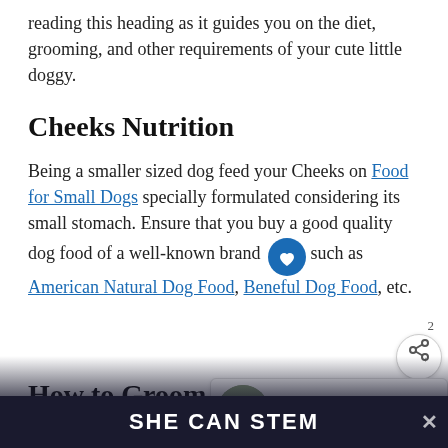reading this heading as it guides you on the diet, grooming, and other requirements of your cute little doggy.
Cheeks Nutrition
Being a smaller sized dog feed your Cheeks on Food for Small Dogs specially formulated considering its small stomach. Ensure that you buy a good quality dog food of a well-known brand such as American Natural Dog Food, Beneful Dog Food, etc.
How to Groom a Cheeks
The essential grooming for this little puppy is generally minimal. It requires regular brushing to
[Figure (screenshot): What's Next promotional widget showing Chilean Fox Terrier Dog article thumbnail]
SHE CAN STEM